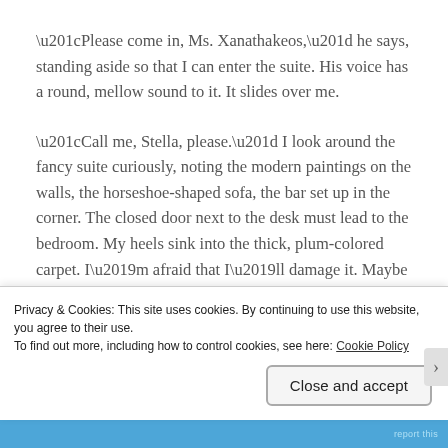“Please come in, Ms. Xanathakeos,” he says, standing aside so that I can enter the suite. His voice has a round, mellow sound to it. It slides over me.
“Call me, Stella, please.” I look around the fancy suite curiously, noting the modern paintings on the walls, the horseshoe-shaped sofa, the bar set up in the corner. The closed door next to the desk must lead to the bedroom. My heels sink into the thick, plum-colored carpet. I’m afraid that I’ll damage it. Maybe I’ll have to dance barefoot
Privacy & Cookies: This site uses cookies. By continuing to use this website, you agree to their use.
To find out more, including how to control cookies, see here: Cookie Policy
Close and accept